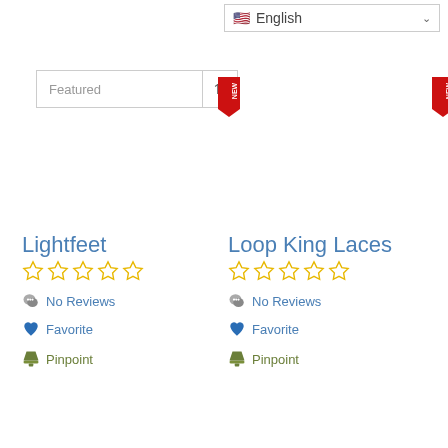[Figure (screenshot): Language selector dropdown showing US flag and English with chevron]
[Figure (screenshot): Featured sort dropdown with up-down arrow icon]
[Figure (screenshot): NEW ribbon badge in red on left product]
[Figure (screenshot): NEW ribbon badge in red on right product]
Lightfeet
No Reviews
Favorite
Pinpoint
Loop King Laces
No Reviews
Favorite
Pinpoint